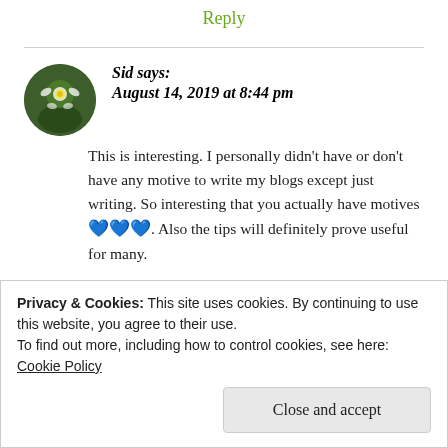Reply
Sid says:
August 14, 2019 at 8:44 pm
This is interesting. I personally didn't have or don't have any motive to write my blogs except just writing. So interesting that you actually have motives 💙💙💙. Also the tips will definitely prove useful for many.
Privacy & Cookies: This site uses cookies. By continuing to use this website, you agree to their use.
To find out more, including how to control cookies, see here: Cookie Policy
Close and accept